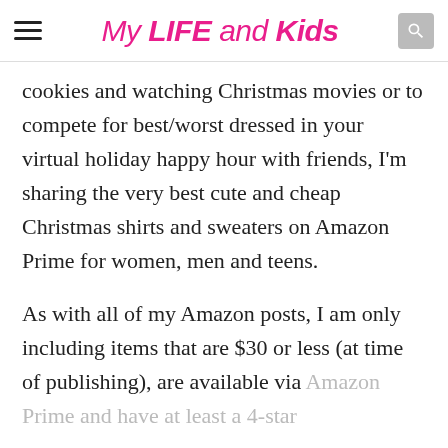My LIFE and Kids
cookies and watching Christmas movies or to compete for best/worst dressed in your virtual holiday happy hour with friends, I'm sharing the very best cute and cheap Christmas shirts and sweaters on Amazon Prime for women, men and teens.
As with all of my Amazon posts, I am only including items that are $30 or less (at time of publishing), are available via Amazon Prime and have at least a 4-star